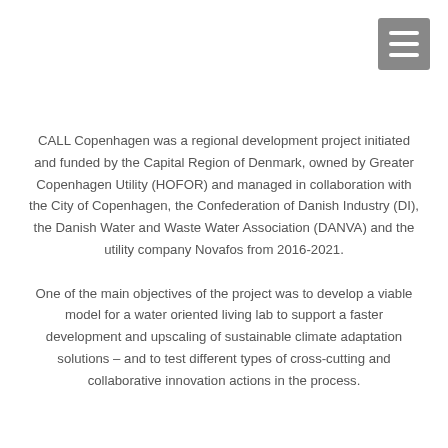[Figure (other): Hamburger menu icon (three horizontal white lines on a grey square background) in the top-right corner]
CALL Copenhagen was a regional development project initiated and funded by the Capital Region of Denmark, owned by Greater Copenhagen Utility (HOFOR) and managed in collaboration with the City of Copenhagen, the Confederation of Danish Industry (DI), the Danish Water and Waste Water Association (DANVA) and the utility company Novafos from 2016-2021.
One of the main objectives of the project was to develop a viable model for a water oriented living lab to support a faster development and upscaling of sustainable climate adaptation solutions – and to test different types of cross-cutting and collaborative innovation actions in the process.